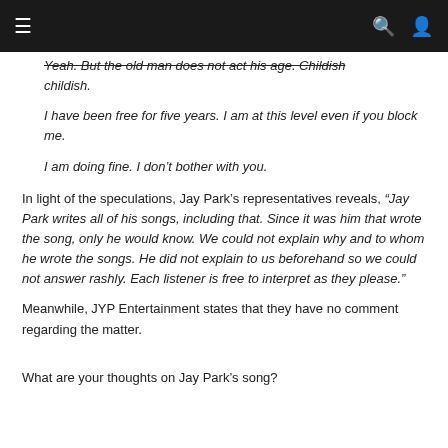Navigation bar (menu, search, user icons)
Yeah. But the old man does not act his age. Childish childish.
I have been free for five years. I am at this level even if you block me.
I am doing fine. I don't bother with you.
In light of the speculations, Jay Park's representatives reveals, “Jay Park writes all of his songs, including that. Since it was him that wrote the song, only he would know. We could not explain why and to whom he wrote the songs. He did not explain to us beforehand so we could not answer rashly. Each listener is free to interpret as they please.”
Meanwhile, JYP Entertainment states that they have no comment regarding the matter.
What are your thoughts on Jay Park’s song?